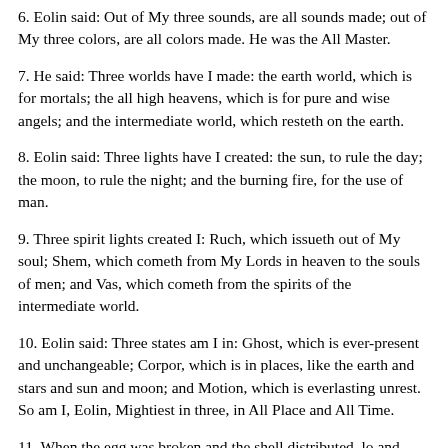6. Eolin said: Out of My three sounds, are all sounds made; out of My three colors, are all colors made. He was the All Master.
7. He said: Three worlds have I made: the earth world, which is for mortals; the all high heavens, which is for pure and wise angels; and the intermediate world, which resteth on the earth.
8. Eolin said: Three lights have I created: the sun, to rule the day; the moon, to rule the night; and the burning fire, for the use of man.
9. Three spirit lights created I: Ruch, which issueth out of My soul; Shem, which cometh from My Lords in heaven to the souls of men; and Vas, which cometh from the spirits of the intermediate world.
10. Eolin said: Three states am I in: Ghost, which is ever-present and unchangeable; Corpor, which is in places, like the earth and stars and sun and moon; and Motion, which is everlasting unrest. So am I, Eolin, Mightiest in three, in All Place and All Time.
11. When the egg was broken and the shell distributed, lo and behold, the se'mu of the egg had nowhere to rest, and being void of compact distributed in the void world and was not seen. Then Hirto, High Lord of the upper heavens, sent whirlwinds abroad, and they gathered of the substance of the egg and rained it down